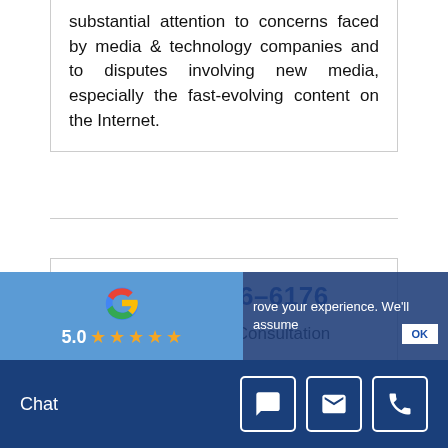substantial attention to concerns faced by media & technology companies and to disputes involving new media, especially the fast-evolving content on the Internet.
1-800-596-6176
Call For A Free Consultation
[Figure (other): Google review widget showing G logo and 5 gold stars with rating, overlaid on blue background. Bottom navigation bar with Chat label and icons for chat, email, and phone.]